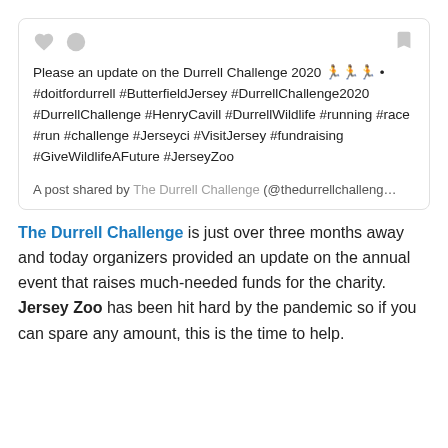Please an update on the Durrell Challenge 2020 🏃🏃🏃 • #doitfordurrell #ButterfieldJersey #DurrellChallenge2020 #DurrellChallenge #HenryCavill #DurrellWildlife #running #race #run #challenge #Jerseyci #VisitJersey #fundraising #GiveWildlifeAFuture #JerseyZoo
A post shared by The Durrell Challenge (@thedurrellchalleng...
The Durrell Challenge is just over three months away and today organizers provided an update on the annual event that raises much-needed funds for the charity. Jersey Zoo has been hit hard by the pandemic so if you can spare any amount, this is the time to help.